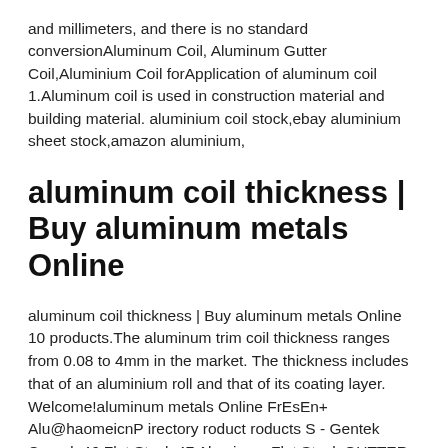and millimeters, and there is no standard conversionAluminum Coil, Aluminum Gutter Coil,Aluminium Coil forApplication of aluminum coil 1.Aluminum coil is used in construction material and building material. aluminium coil stock,ebay aluminium sheet stock,amazon aluminium,
aluminum coil thickness | Buy aluminum metals Online
aluminum coil thickness | Buy aluminum metals Online 10 products.The aluminum trim coil thickness ranges from 0.08 to 4mm in the market. The thickness includes that of an aluminium roll and that of its coating layer. Welcome!aluminum metals Online FrEsEn+ Alu@haomeicnPirectory roduct roducts S - Gentek Canada46 Flat Stock 47 Aluminum Flat Stock GUTTER COIL 49 Aluminum Gutter Coil COLOUR MATRIX 52 EnFusion Siding, Deep-Pocket Insulated Vinyl Accessories 54 VinylSMACNA Gutters - SAFThe SMACNA Series Gutter System is an exceptionally strong gutter product for industrial & commercial type buildings. SAF